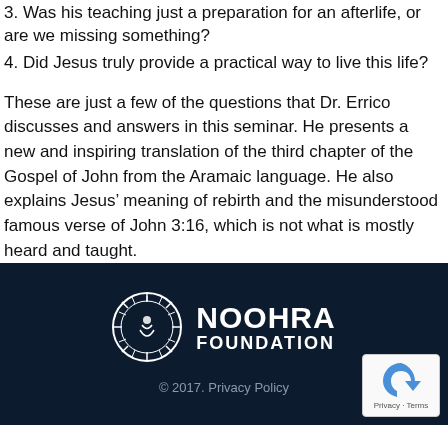3. Was his teaching just a preparation for an afterlife, or are we missing something?
4. Did Jesus truly provide a practical way to live this life?
These are just a few of the questions that Dr. Errico discusses and answers in this seminar. He presents a new and inspiring translation of the third chapter of the Gospel of John from the Aramaic language. He also explains Jesus’ meaning of rebirth and the misunderstood famous verse of John 3:16, which is not what is mostly heard and taught.
[Figure (logo): Noohra Foundation logo: circular emblem with rays and figure, beside text NOOHRA FOUNDATION in white on dark navy background]
© 2017. Privacy Policy